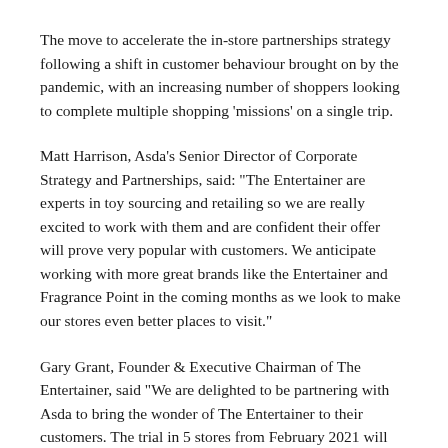The move to accelerate the in-store partnerships strategy following a shift in customer behaviour brought on by the pandemic, with an increasing number of shoppers looking to complete multiple shopping ‘missions’ on a single trip.
Matt Harrison, Asda’s Senior Director of Corporate Strategy and Partnerships, said: “The Entertainer are experts in toy sourcing and retailing so we are really excited to work with them and are confident their offer will prove very popular with customers. We anticipate working with more great brands like the Entertainer and Fragrance Point in the coming months as we look to make our stores even better places to visit.”
Gary Grant, Founder & Executive Chairman of The Entertainer, said “We are delighted to be partnering with Asda to bring the wonder of The Entertainer to their customers. The trial in 5 stores from February 2021 will give customers the opportunity to shop our range of the latest toys and games, including our great value exclusive range from Addo, where ever is most convenient to them.”